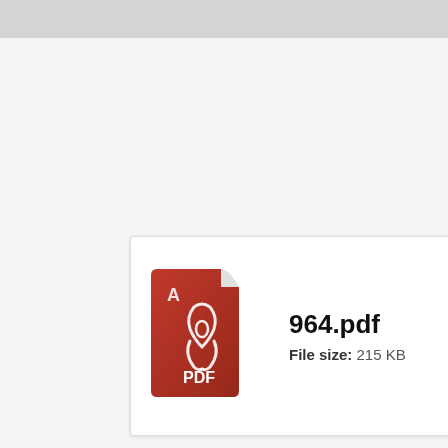[Figure (screenshot): A screenshot of a web browser or file viewer showing a PDF file icon (Adobe Acrobat red PDF icon) alongside the filename '964.pdf' and file size '215 KB' in a white card panel with a gray background.]
964.pdf
File size: 215 KB